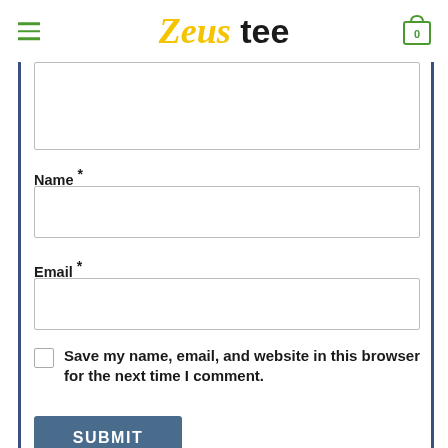Zeus tee
[Figure (screenshot): Partially visible comment textarea at top of form]
Name *
[Figure (screenshot): Name input field (empty text box)]
Email *
[Figure (screenshot): Email input field (empty text box)]
Save my name, email, and website in this browser for the next time I comment.
SUBMIT